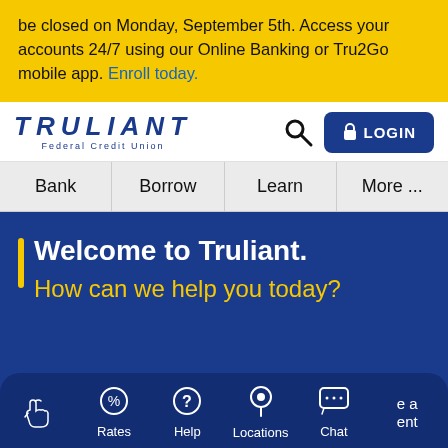be closed on Monday, September 5th. Access your accounts 24/7 using our Online Banking or Tru2Go mobile app. Enroll today.
[Figure (logo): Truliant Federal Credit Union logo with search icon and LOGIN button]
Bank | Borrow | Learn | More ...
Welcome to Truliant. How can we help you today?
[Figure (screenshot): Bottom navigation toolbar with icons: swipe hand, Rates (%), Help (?), Locations (pin), Chat (...), and partial 'e a ent' text]